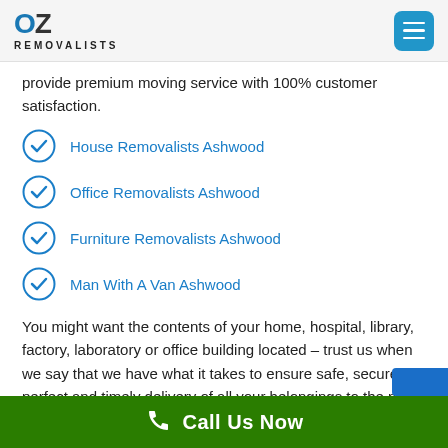OZ REMOVALISTS
provide premium moving service with 100% customer satisfaction.
House Removalists Ashwood
Office Removalists Ashwood
Furniture Removalists Ashwood
Man With A Van Ashwood
You might want the contents of your home, hospital, library, factory, laboratory or office building located – trust us when we say that we have what it takes to ensure safe, secure, perfect and timely delivery of all your belongings to the new location. If you w…
Call Us Now